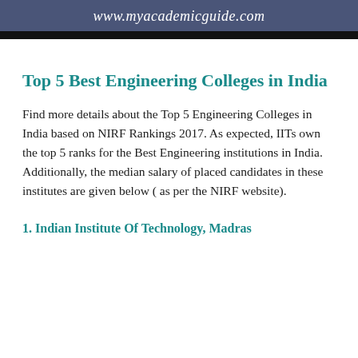www.myacademicguide.com
Top 5 Best Engineering Colleges in India
Find more details about the Top 5 Engineering Colleges in India based on NIRF Rankings 2017. As expected, IITs own the top 5 ranks for the Best Engineering institutions in India. Additionally, the median salary of placed candidates in these institutes are given below ( as per the NIRF website).
1. Indian Institute Of Technology, Madras